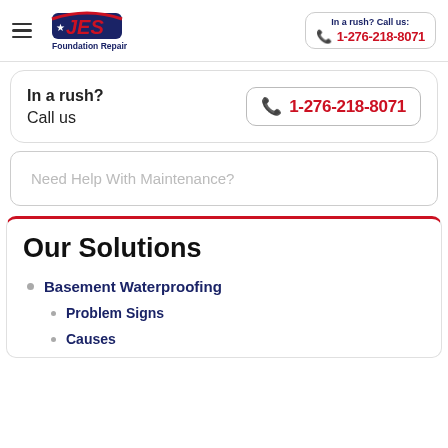[Figure (logo): JES Foundation Repair logo with hamburger menu icon]
In a rush? Call us: 1-276-218-8071
In a rush?
Call us
1-276-218-8071
Need Help With Maintenance?
Our Solutions
Basement Waterproofing
Problem Signs
Causes